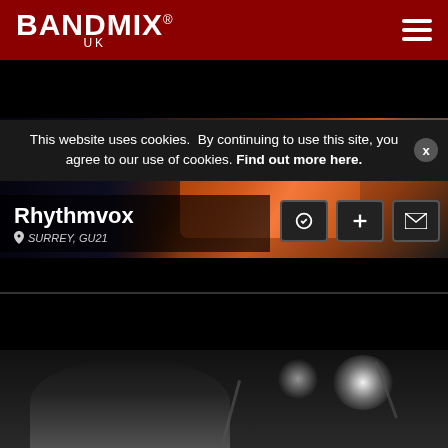BANDMIX® UK
This website uses cookies. By continuing to use this site, you agree to our use of cookies. Find out more here.
[Figure (photo): Hero background photo showing close-up of a guitar with orange/red tones against dark background]
Rhythmvox
SURREY, GU21
Other, Dobro, Vocalist, Rhythm Guitar, Acoustic Guitar, Other Percu...
" Guitar Teacher. Lead Guitar Advanced. Sin... "
[Figure (photo): Black and white photograph of a male performer wearing a hat and playing guitar on stage with bright stage lighting]